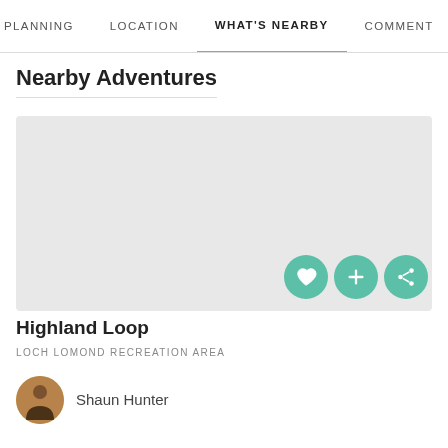PLANNING   LOCATION   WHAT'S NEARBY   COMMENT
Nearby Adventures
[Figure (photo): Outdoor trail scene with autumn foliage, partially visible card image area]
Highland Loop
LOCH LOMOND RECREATION AREA
Shaun Hunter